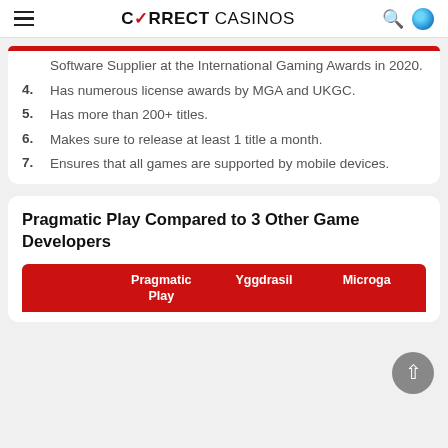CORRECT CASINOS
Software Supplier at the International Gaming Awards in 2020.
4. Has numerous license awards by MGA and UKGC.
5. Has more than 200+ titles.
6. Makes sure to release at least 1 title a month.
7. Ensures that all games are supported by mobile devices.
Pragmatic Play Compared to 3 Other Game Developers
|  | Pragmatic Play | Yggdrasil | Microga... |
| --- | --- | --- | --- |